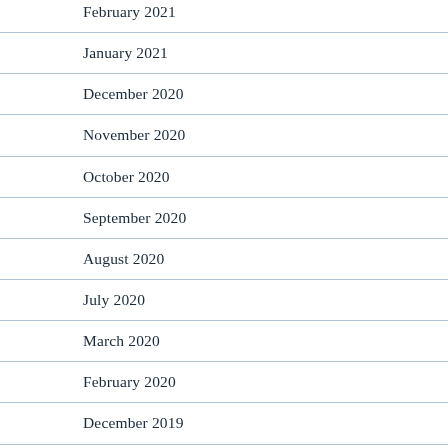February 2021
January 2021
December 2020
November 2020
October 2020
September 2020
August 2020
July 2020
March 2020
February 2020
December 2019
November 2019